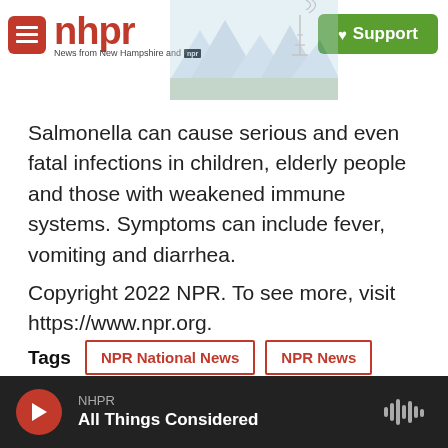nhpr — News from New Hampshire and NPR | Support
Salmonella can cause serious and even fatal infections in children, elderly people and those with weakened immune systems. Symptoms can include fever, vomiting and diarrhea.
Copyright 2022 NPR. To see more, visit https://www.npr.org.
Tags  NPR National News  NPR News
[Figure (other): Social sharing icons: Facebook, Twitter, LinkedIn, Pinterest, Email]
NHPR — All Things Considered (audio player)